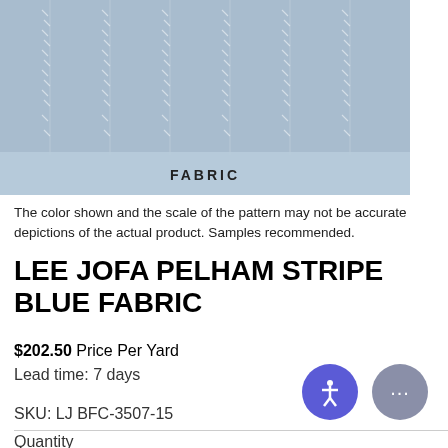[Figure (photo): Blue fabric swatch showing a woven stripe pattern with white/light blue diagonal textile design. A label bar reads FABRIC overlaid on the lower portion of the image.]
The color shown and the scale of the pattern may not be accurate depictions of the actual product. Samples recommended.
LEE JOFA PELHAM STRIPE BLUE FABRIC
$202.50 Price Per Yard
Lead time: 7 days
SKU: LJ BFC-3507-15
Quantity